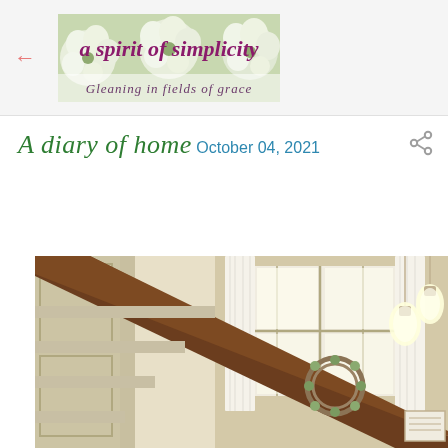a spirit of simplicity — Gleaning in fields of grace
A diary of home
October 04, 2021
[Figure (photo): Interior staircase with wooden banister, white curtains on window, a decorative dried wreath on the window sill, and hanging Edison-style light bulbs.]